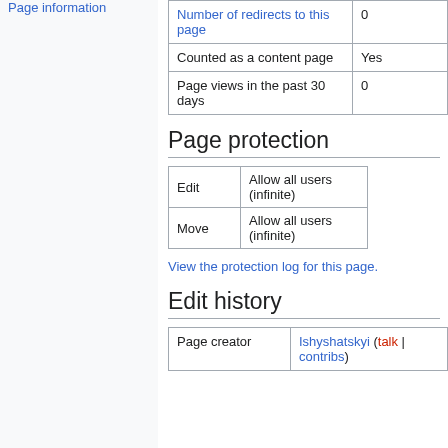Page information
| Number of redirects to this page | 0 |
| Counted as a content page | Yes |
| Page views in the past 30 days | 0 |
Page protection
| Edit | Allow all users (infinite) |
| Move | Allow all users (infinite) |
View the protection log for this page.
Edit history
| Page creator | Ishyshatskyi (talk | contribs) |